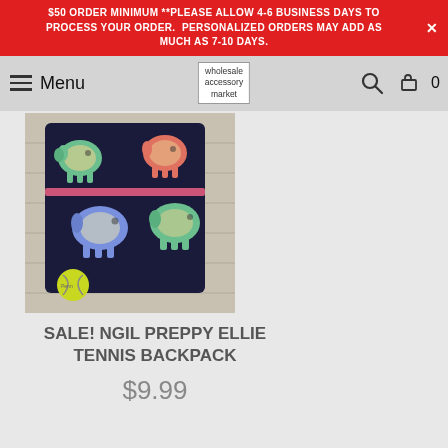$50 ORDER MINIMUM **PLEASE ALLOW 4-6 BUSINESS DAYS TO PROCESS YOUR ORDER.  PERSONALIZED ORDERS MAY ADD AS MUCH AS 7-10 DAYS.
Menu | wholesale accessory market | [search icon] | [cart] 0
[Figure (photo): Photo of a dark navy tennis backpack with colorful elephant pattern. A yellow tennis ball sits in front of the bag on a white wooden surface.]
SALE! NGIL PREPPY ELLIE TENNIS BACKPACK
$9.99